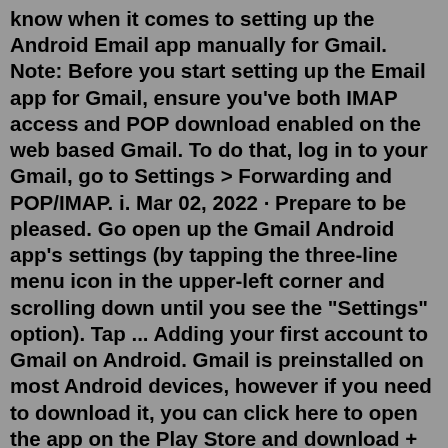know when it comes to setting up the Android Email app manually for Gmail. Note: Before you start setting up the Email app for Gmail, ensure you've both IMAP access and POP download enabled on the web based Gmail. To do that, log in to your Gmail, go to Settings > Forwarding and POP/IMAP. i. Mar 02, 2022 · Prepare to be pleased. Go open up the Gmail Android app's settings (by tapping the three-line menu icon in the upper-left corner and scrolling down until you see the "Settings" option). Tap ... Adding your first account to Gmail on Android. Gmail is preinstalled on most Android devices, however if you need to download it, you can click here to open the app on the Play Store and download + install the app. Step 1: Open Gmail. On most Android devices, you can swipe up from the bottom of your screen to see the app drawer.To setup your Gmail on an Android phone, follow these steps. Open the Settings menu and go to Accounts (& sync settings) on your device. The Accounts settings screen displays your current sync settings and a list of your current accounts. Touch